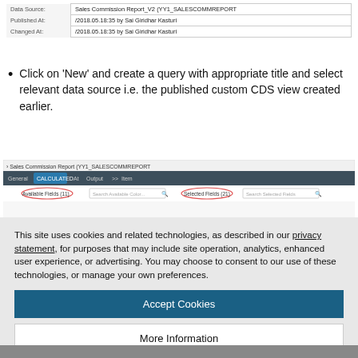| Data Source: | Sales Commission Report_V2 (YY1_SALESCOMMREPORT |
| Published At: | /2018.05.18:35 by Sai Giridhar Kasturi |
| Changed At: | /2018.05.18:35 by Sai Giridhar Kasturi |
Click on 'New' and create a query with appropriate title and select relevant data source i.e. the published custom CDS view created earlier.
[Figure (screenshot): Screenshot of Sales Commission Report (YY1_SALESCOMMREPORT) query editor showing General, Calculated, User, Item tabs at top with Available Fields and Selected Fields panels]
This site uses cookies and related technologies, as described in our privacy statement, for purposes that may include site operation, analytics, enhanced user experience, or advertising. You may choose to consent to our use of these technologies, or manage your own preferences.
Accept Cookies
More Information
Privacy Policy | Powered by: TrustArc